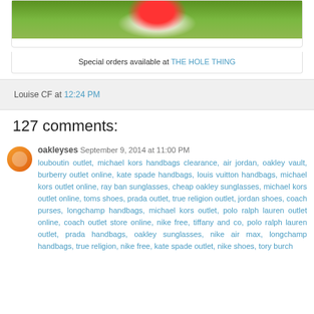[Figure (photo): Photo of a person or doll with red costume on green grass background]
Special orders available at THE HOLE THING
Louise CF at 12:24 PM
127 comments:
oakleyses  September 9, 2014 at 11:00 PM
louboutin outlet, michael kors handbags clearance, air jordan, oakley vault, burberry outlet online, kate spade handbags, louis vuitton handbags, michael kors outlet online, ray ban sunglasses, cheap oakley sunglasses, michael kors outlet online, toms shoes, prada outlet, true religion outlet, jordan shoes, coach purses, longchamp handbags, michael kors outlet, polo ralph lauren outlet online, coach outlet store online, nike free, tiffany and co, polo ralph lauren outlet, prada handbags, oakley sunglasses, nike air max, longchamp handbags, true religion, nike free, kate spade outlet, nike shoes, tory burch